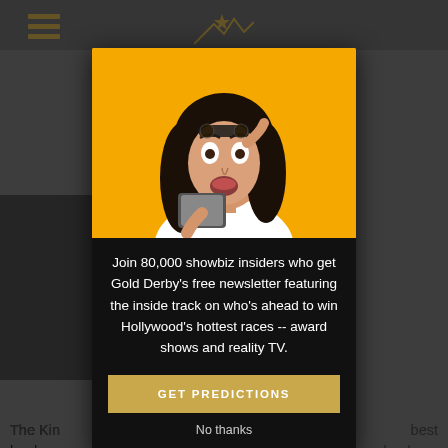[Figure (screenshot): Website page background showing a gray navigation bar with hamburger menu icon and gold star decoration, partially visible article image and text snippets about The King and award shows, with a dashed separator line and a thumbnail photo.]
[Figure (photo): Modal popup overlay on a website. Contains a photo of a surprised woman with long dark hair holding a phone, against an orange/yellow background. Below the photo on a black background is newsletter signup text and a gold 'GET PREDICTIONS' button.]
Join 80,000 showbiz insiders who get Gold Derby's free newsletter featuring the inside track on who's ahead to win Hollywood's hottest races -- award shows and reality TV.
GET PREDICTIONS
No thanks